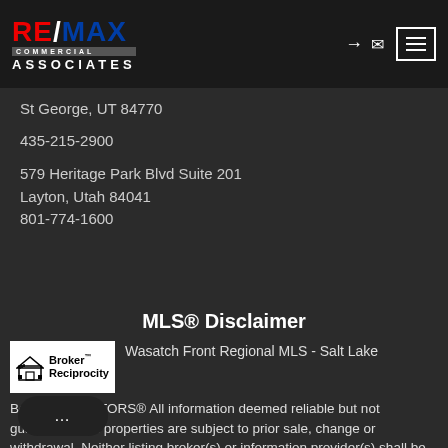RE/MAX COMMERCIAL ASSOCIATES
St George, UT 84770
435-215-2900
579 Heritage Park Blvd Suite 201
Layton, Utah 84041
801-774-1600
MLS® Disclaimer
Wasatch Front Regional MLS - Salt Lake Board of REALTORS® All information deemed reliable but not guaranteed. All properties are subject to prior sale, change or withdrawal. Neither listing broker(s) or information provider(s) shall be responsible for any typographical errors, misinformation,